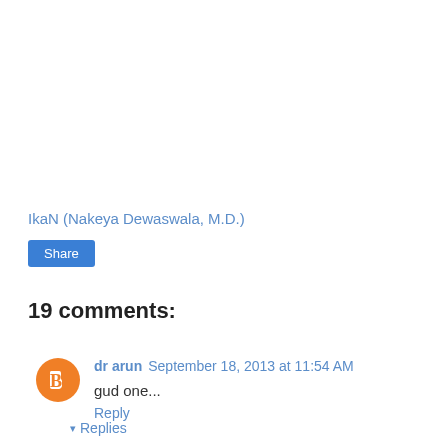IkaN (Nakeya Dewaswala, M.D.)
Share
19 comments:
dr arun   September 18, 2013 at 11:54 AM
gud one...
Reply
Replies